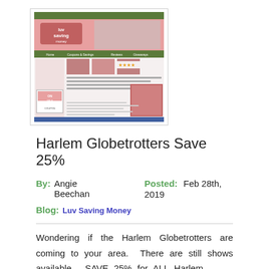[Figure (screenshot): Screenshot of the 'Luv Saving Money' blog website showing a pink-themed blog with navigation, post thumbnails, and sidebar content.]
Harlem Globetrotters Save 25%
By:  Angie Beechan      Posted:  Feb 28th, 2019
Blog:  Luv Saving Money
Wondering if the Harlem Globetrotters are coming to your area. There are still shows available. SAVE 25% for ALL Harlem Globetrotters Games with promo codeFUNFAMhttp://harlemglobetrotters.com/tickets